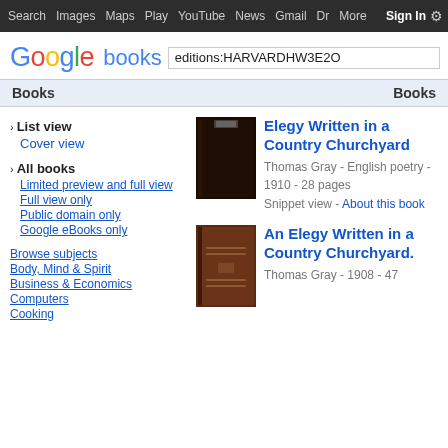Search  Images  Maps  Play  YouTube  News  Gmail  Drive  More  Sign In  [gear]
[Figure (logo): Google books logo with search box containing 'editions:HARVARDHW3E2O']
Books   Books
› List view
Cover view
› All books
Limited preview and full view
Full view only
Public domain only
Google eBooks only
Browse subjects
Body, Mind & Spirit
Business & Economics
Computers
Cooking
[Figure (illustration): Dark brown book cover for Elegy Written in a Country Churchyard]
Elegy Written in a Country Churchyard
Thomas Gray - English poetry - 1910 - 28 pages
Snippet view - About this book
[Figure (illustration): Dark brown book cover for An Elegy Written in a Country Churchyard]
An Elegy Written in a Country Churchyard.
Thomas Gray - 1908 - 47